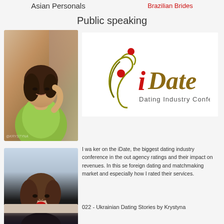Brazilian Brides
Asian Personals
Public speaking
[Figure (photo): Asian woman in yellow top posing outdoors near brick wall]
[Figure (logo): iDate Dating Industry Conference logo with decorative swirl and red/olive coloring]
I wa ker on the iDate, the biggest dating industry conference in the out agency ratings and their impact on revenues. In this se foreign dating and matchmaking market and especially how I rated their services.
[Figure (photo): Asian woman with red lips wearing black turtleneck]
022 - Ukrainian Dating Stories by Krystyna
[Figure (photo): Partial view of woman with dark hair at bottom of page]